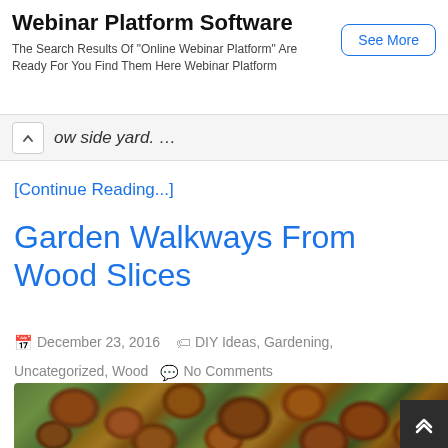[Figure (screenshot): Advertisement banner for Webinar Platform Software with a 'See More' button]
ow side yard. …
[Continue Reading...]
Garden Walkways From Wood Slices
December 23, 2016   DIY Ideas, Gardening, Uncategorized, Wood   No Comments
[Figure (photo): Garden walkway made from cross-section wood slices arranged as stepping stones between green plants]